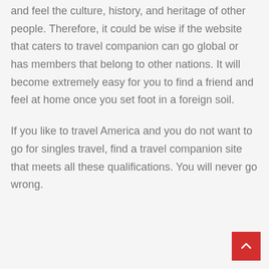and feel the culture, history, and heritage of other people. Therefore, it could be wise if the website that caters to travel companion can go global or has members that belong to other nations. It will become extremely easy for you to find a friend and feel at home once you set foot in a foreign soil.
If you like to travel America and you do not want to go for singles travel, find a travel companion site that meets all these qualifications. You will never go wrong.